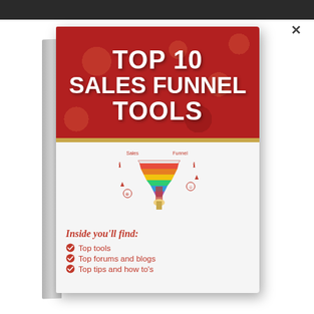[Figure (illustration): 3D book cover titled 'Top 10 Sales Funnel Tools' with a red header section featuring a sales funnel graphic. Inside you'll find: Top tools, Top forums and blogs, Top tips and how to's.]